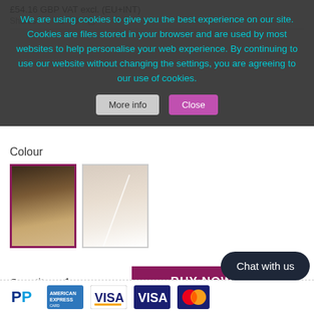£54.16 GBP VAT excl. (EU+INT)
Shares 0 0 0
We are using cookies to give you the best experience on our site. Cookies are files stored in your browser and are used by most websites to help personalise your web experience. By continuing to use our website without changing the settings, you are agreeing to our use of cookies.
More info
Close
Colour
[Figure (photo): Ombre dark-to-blonde hair swatch, selected (pink/maroon border)]
[Figure (photo): Light blonde/platinum hair swatch, unselected (grey border)]
Quantity   1
BUY NOW
Add to wishlist
[Figure (logo): PayPal logo]
[Figure (logo): American Express logo]
[Figure (logo): VISA logo (orange underline)]
[Figure (logo): VISA logo (plain)]
[Figure (logo): Mastercard logo]
Chat with us